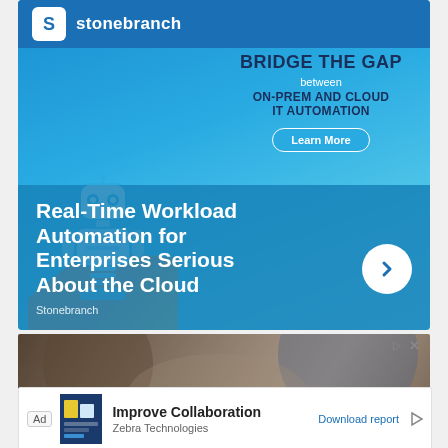[Figure (infographic): Stonebranch advertisement banner. Blue background with robot illustration and orange geometric shapes. Header shows Stonebranch logo. Right side text: 'BRIDGE THE GAP between ON-PREM AND CLOUD IT AUTOMATION' with 'Learn More' button. Bottom text: 'Real-Time Workload Automation for Enterprises Serious About the Cloud' with Stonebranch branding and a chevron arrow button.]
[Figure (photo): Photo of people collaborating around a laptop, hands visible, business setting.]
[Figure (infographic): Bottom banner ad: 'Ad' label, thumbnail image, text 'Improve Collaboration', 'Zebra Technologies', 'Download report' link, and play/triangle icon.]